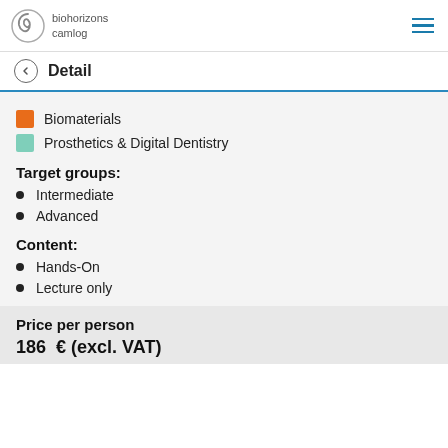biohorizons camlog
Detail
Biomaterials
Prosthetics & Digital Dentistry
Target groups:
Intermediate
Advanced
Content:
Hands-On
Lecture only
Price per person
186  € (excl. VAT)